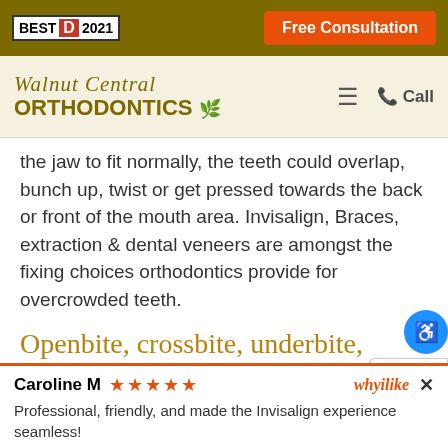BEST D 2021 | Free Consultation
[Figure (logo): Walnut Central Orthodontics logo with script and serif text, decorative bird, hamburger menu and Call icon]
the jaw to fit normally, the teeth could overlap, bunch up, twist or get pressed towards the back or front of the mouth area. Invisalign, Braces, extraction & dental veneers are amongst the fixing choices orthodontics provide for overcrowded teeth.
Openbite, crossbite, underbite,
Caroline M ★★★★★  whyilike  ×
Professional, friendly, and made the Invisalign experience seamless!